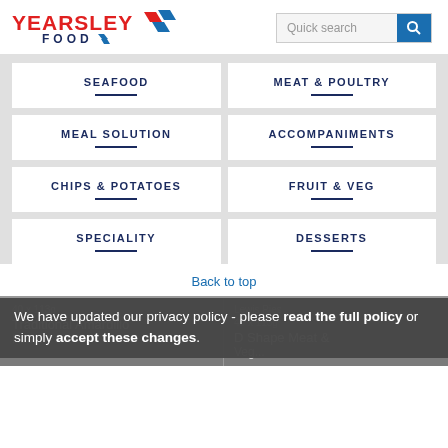[Figure (logo): Yearsley Food logo with red text and diamond shapes]
Quick search
SEAFOOD
MEAT & POULTRY
MEAL SOLUTION
ACCOMPANIMENTS
CHIPS & POTATOES
FRUIT & VEG
SPECIALITY
DESSERTS
Back to top
40 x 113g
Lewis Pies
40 x 113g
Traditional Amardillo
D Shape Meat &
We have updated our privacy policy - please read the full policy or simply accept these changes.